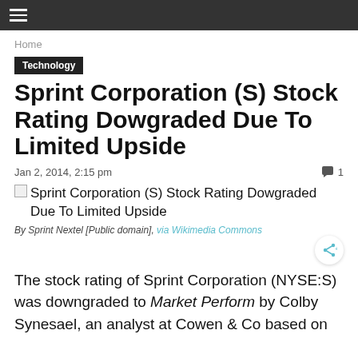≡
Home
Technology
Sprint Corporation (S) Stock Rating Dowgraded Due To Limited Upside
Jan 2, 2014, 2:15 pm   🗨 1
[Figure (photo): Sprint Corporation (S) Stock Rating Dowgraded Due To Limited Upside - image placeholder]
By Sprint Nextel [Public domain], via Wikimedia Commons
The stock rating of Sprint Corporation (NYSE:S) was downgraded to Market Perform by Colby Synesael, an analyst at Cowen & Co based on